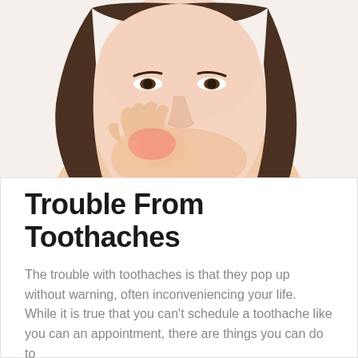[Figure (photo): A woman holding her jaw/cheek with her hand in pain, with a red highlight around her jaw/tooth area indicating toothache pain. She has long dark hair and is on a white background.]
Trouble From Toothaches
The trouble with toothaches is that they pop up without warning, often inconveniencing your life.  While it is true that you can't schedule a toothache like you can an appointment, there are things you can do to